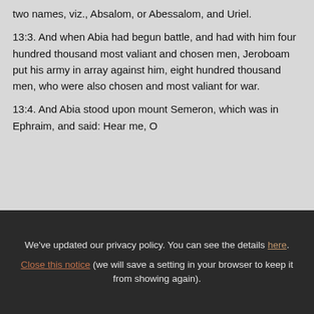two names, viz., Absalom, or Abessalom, and Uriel.
13:3. And when Abia had begun battle, and had with him four hundred thousand most valiant and chosen men, Jeroboam put his army in array against him, eight hundred thousand men, who were also chosen and most valiant for war.
13:4. And Abia stood upon mount Semeron, which was in Ephraim, and said: Hear me, O
We've updated our privacy policy. You can see the details here. Close this notice (we will save a setting in your browser to keep it from showing again).